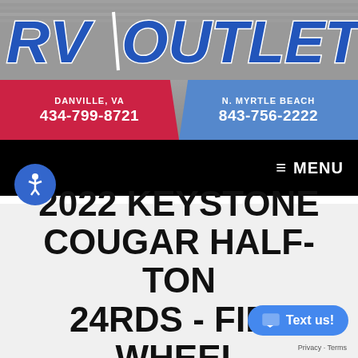[Figure (logo): RV Outlet USA logo in large italic bold blue and white text on a gray striped background]
DANVILLE, VA
434-799-8721
N. MYRTLE BEACH
843-756-2222
≡ MENU
2022 KEYSTONE COUGAR HALF-TON 24RDS - FIFTH WHEEL